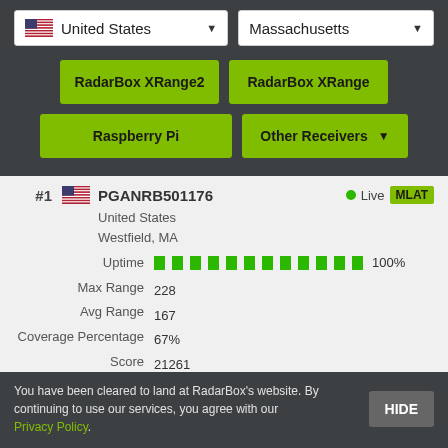[Figure (screenshot): Dropdown selector showing United States with flag icon and dropdown arrow]
[Figure (screenshot): Dropdown selector showing Massachusetts with dropdown arrow]
RadarBox XRange2
RadarBox XRange
Raspberry Pi
Other Receivers
#1 PGANRB501176 Live MLAT
United States
Westfield, MA
Uptime 100%
Max Range 228
Avg Range 167
Coverage Percentage 67%
Score 21261
#2 EXTRPI008765 Live MLAT
You have been cleared to land at RadarBox's website. By continuing to use our services, you agree with our Privacy Policy.